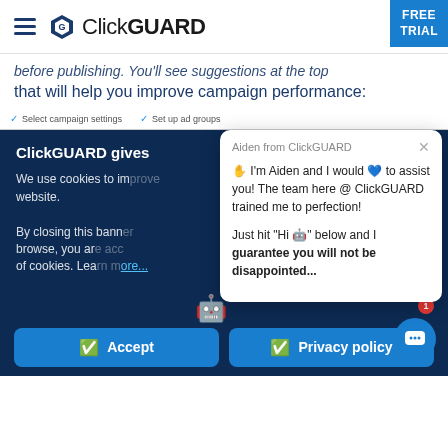[Figure (screenshot): ClickGUARD website navigation bar with hamburger menu, ClickGUARD logo, and FREE TRIAL button in top right corner]
before publishing. You'll see suggestions at the top that will help you improve campaign performance:
[Figure (screenshot): ClickGUARD website dark blue section with cookie consent banner and chat popup from 'Aiden from ClickGUARD' with robot mascot. Cookie banner reads: 'ClickGUARD gives...' and 'We use cookies to improve website. By closing this banner, browse, you are accepting use of cookies. Learn more...' Chat popup says: 'I'm Aiden and I would to assist you! The team here @ ClickGUARD trained me to perfection! Just hit Hi below and I guarantee you will not be disappointed...' Accept and Privacy policy buttons at bottom.]